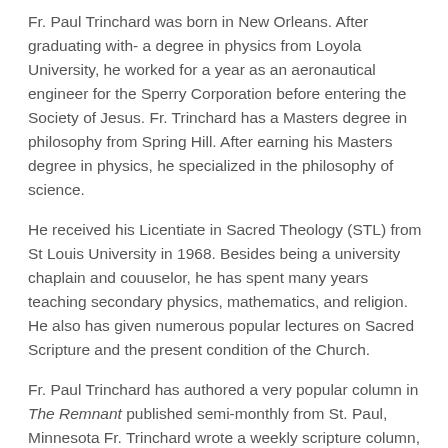Fr. Paul Trinchard was born in New Orleans. After graduating with- a degree in physics from Loyola University, he worked for a year as an aeronautical engineer for the Sperry Corporation before entering the Society of Jesus. Fr. Trinchard has a Masters degree in philosophy from Spring Hill. After earning his Masters degree in physics, he specialized in the philosophy of science.
He received his Licentiate in Sacred Theology (STL) from St Louis University in 1968. Besides being a university chaplain and couuselor, he has spent many years teaching secondary physics, mathematics, and religion. He also has given numerous popular lectures on Sacred Scripture and the present condition of the Church.
Fr. Paul Trinchard has authored a very popular column in The Remnant published semi-monthly from St. Paul, Minnesota Fr. Trinchard wrote a weekly scripture column, as well as occasional editorials in the national "lay run" weekly newspaper, The Wanderer for 17 years.